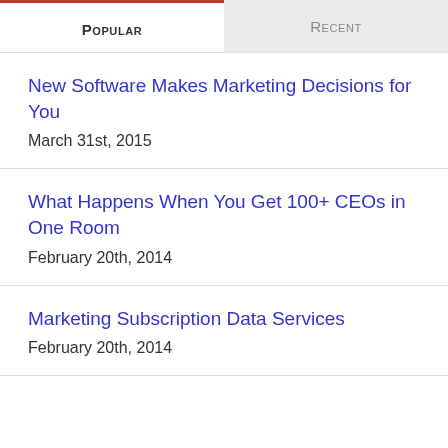Popular
Recent
New Software Makes Marketing Decisions for You
March 31st, 2015
What Happens When You Get 100+ CEOs in One Room
February 20th, 2014
Marketing Subscription Data Services
February 20th, 2014